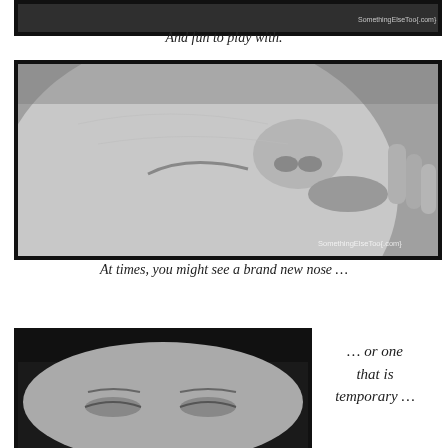[Figure (photo): Partial/cropped photo of a person or scene, black and white, showing just the top edge]
And fun to play with.
[Figure (photo): Black and white close-up photo of a newborn baby's face showing nose, lips, and cheek with watermark SomethingElseToo{.com}]
At times, you might see a brand new nose …
[Figure (photo): Black and white photo of a baby or person face from forehead/eyes perspective, partially visible]
… or one that is temporary …